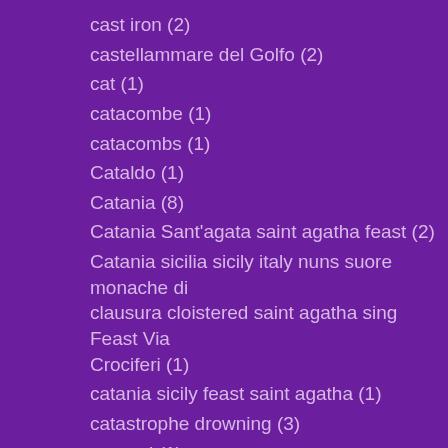cast iron (2)
castellammare del Golfo (2)
cat (1)
catacombe (1)
catacombs (1)
Cataldo (1)
Catania (8)
Catania Sant'agata saint agatha feast (2)
Catania sicilia sicily italy nuns suore monache di clausura cloistered saint agatha sing Feast Via Crociferi (1)
catania sicily feast saint agatha (1)
catastrophe drowning (3)
catered (1)
cathedral (5)
cathedral archbishop (1)
cathedral. Via Vittorio Emanuele (1)
cathedrals (1)
cats ballaro` palermo gatti (1)